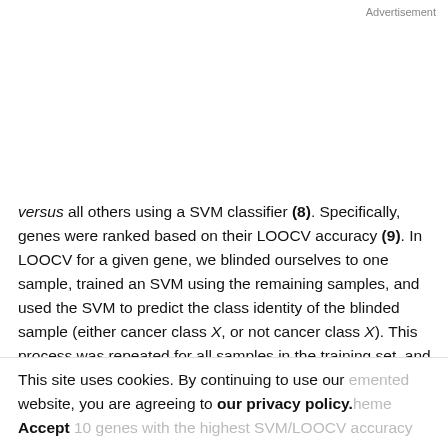Advertisement
versus all others using a SVM classifier (8). Specifically, genes were ranked based on their LOOCV accuracy (9). In LOOCV for a given gene, we blinded ourselves to one sample, trained an SVM using the remaining samples, and used the SVM to predict the class identity of the blinded sample (either cancer class X, or not cancer class X). This process was repeated for all samples in the training set, and an overall prediction accuracy was calculated for each
This site uses cookies. By continuing to use our website, you are agreeing to our privacy policy. Accept 10 genes with the highest SVM/LOOCV accuracy